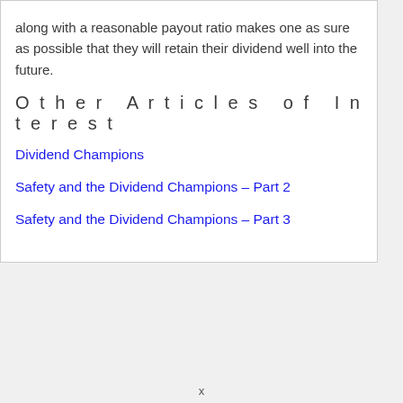along with a reasonable payout ratio makes one as sure as possible that they will retain their dividend well into the future.
Other Articles of Interest
Dividend Champions
Safety and the Dividend Champions – Part 2
Safety and the Dividend Champions – Part 3